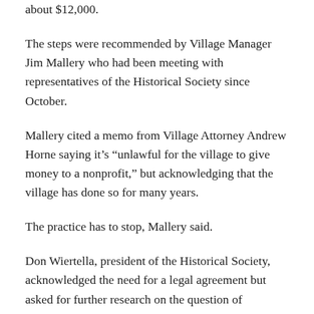about $12,000.
The steps were recommended by Village Manager Jim Mallery who had been meeting with representatives of the Historical Society since October.
Mallery cited a memo from Village Attorney Andrew Horne saying it’s “unlawful for the village to give money to a nonprofit,” but acknowledging that the village has done so for many years.
The practice has to stop, Mallery said.
Don Wiertella, president of the Historical Society, acknowledged the need for a legal agreement but asked for further research on the question of allocating village funds to the nonprofit organization.
Mallery also called for an end to the use of a community garden